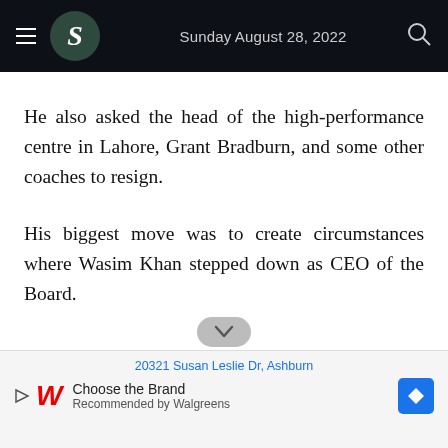Sunday August 28, 2022
He also asked the head of the high-performance centre in Lahore, Grant Bradburn, and some other coaches to resign.
His biggest move was to create circumstances where Wasim Khan stepped down as CEO of the Board.